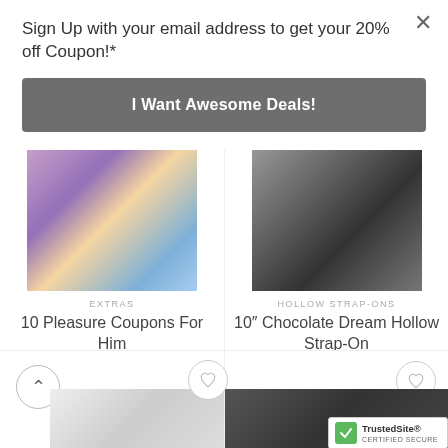Sign Up with your email address to get your 20% off Coupon!*
I Want Awesome Deals!
EXTRAS
10 Pleasure Coupons For Him
$5.59
ADD TO CART
HOLLOW STRAP-ONS
10″ Chocolate Dream Hollow Strap-On
$50.93
ADD TO CART
[Figure (screenshot): E-commerce page screenshot showing two product listings and a popup modal with email signup for 20% off coupon.]